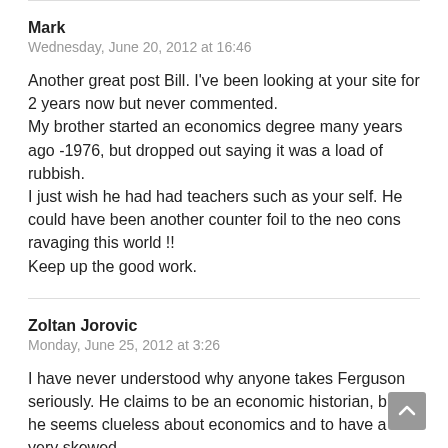Mark
Wednesday, June 20, 2012 at 16:46
Another great post Bill. I've been looking at your site for 2 years now but never commented.
My brother started an economics degree many years ago -1976, but dropped out saying it was a load of rubbish.
I just wish he had had teachers such as your self. He could have been another counter foil to the neo cons ravaging this world !!
Keep up the good work.
Zoltan Jorovic
Monday, June 25, 2012 at 3:26
I have never understood why anyone takes Ferguson seriously. He claims to be an economic historian, but he seems clueless about economics and to have a very skewed